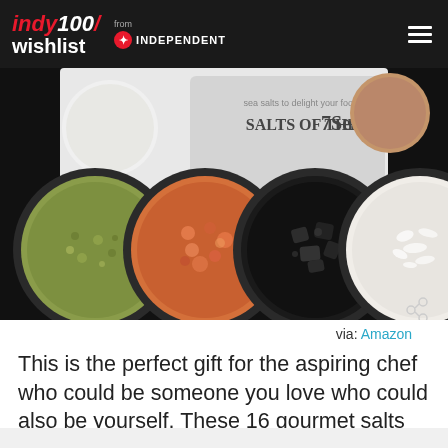indy100/ wishlist from INDEPENDENT
[Figure (photo): Product photo showing 'Salts of the 7 Seas' gourmet salt collection. Top portion shows packaging label with decorative design. Bottom portion shows four circular bowls containing different colored salts: green/herb salt, orange/pink Himalayan salt, black volcanic salt, and white flake salt, arranged on a dark background.]
via: Amazon
This is the perfect gift for the aspiring chef who could be someone you love who could also be yourself. These 16 gourmet salts are all different and tasty and fancy!